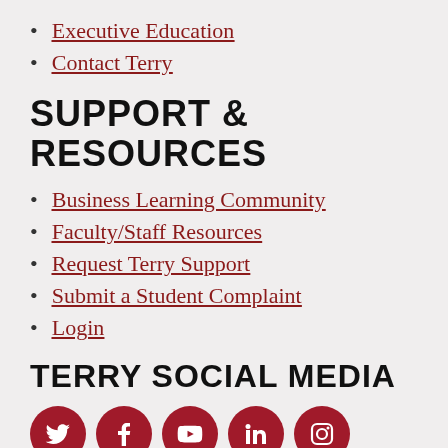Executive Education
Contact Terry
SUPPORT & RESOURCES
Business Learning Community
Faculty/Staff Resources
Request Terry Support
Submit a Student Complaint
Login
TERRY SOCIAL MEDIA
[Figure (illustration): Five red circular social media icons: Twitter, Facebook, YouTube, LinkedIn, Instagram]